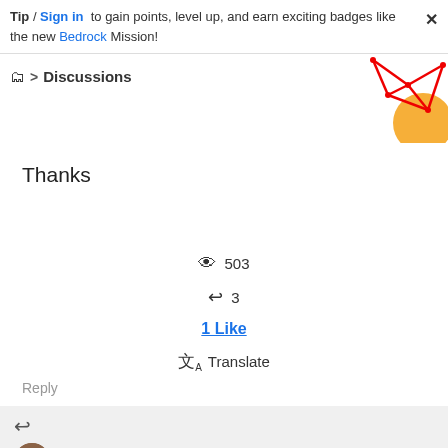Tip / Sign in to gain points, level up, and earn exciting badges like the new Bedrock Mission!
> Discussions
[Figure (illustration): Decorative geometric network diagram with red lines and orange circle in top-right corner]
Thanks
503 views
3 replies
1 Like
Translate
Reply
RashidJorvee Level 5